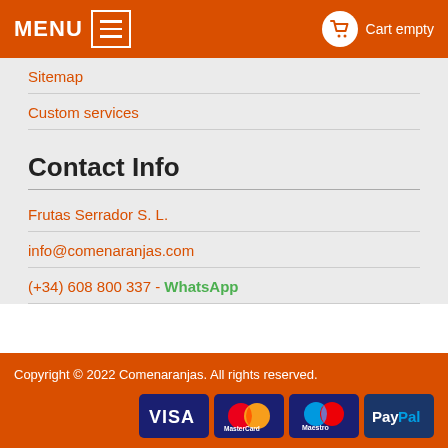MENU  Cart empty
Sitemap
Custom services
Contact Info
Frutas Serrador S. L.
info@comenaranjas.com
(+34) 608 800 337 - WhatsApp
Copyright © 2022 Comenaranjas. All rights reserved.
[Figure (logo): Payment method logos: VISA, MasterCard, Maestro, PayPal on dark blue rounded rectangle backgrounds]